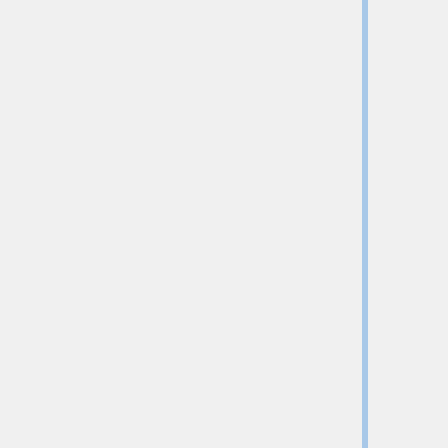population by selecting the best-performing ones and modifying them with one or several random mutations as in [https://arxiv.org/abs/1703.01041 [Real, 2017]]. The fourth and last group of techniques implement Reinforcement Learning where a policy based controller seeks to optimize the expected accuracy of new architectures based